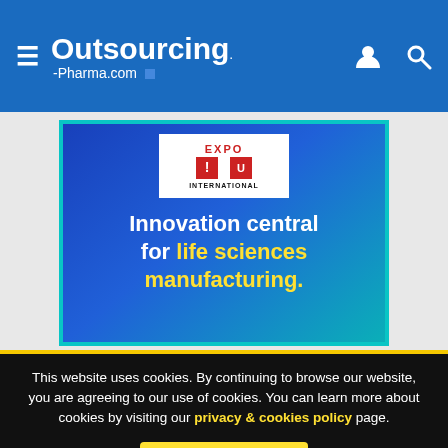Outsourcing-Pharma.com
[Figure (screenshot): Advertisement banner for INTERPHEX EXPO International with blue gradient background. Text reads: Innovation central for life sciences manufacturing. 'life sciences manufacturing.' is in yellow bold text.]
This website uses cookies. By continuing to browse our website, you are agreeing to our use of cookies. You can learn more about cookies by visiting our privacy & cookies policy page.
I Agree